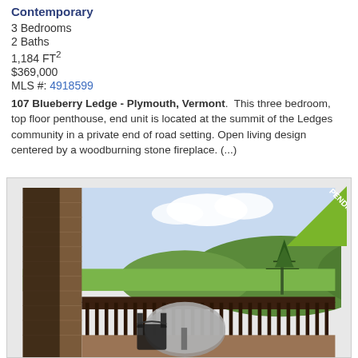Contemporary
3 Bedrooms
2 Baths
1,184 FT²
$369,000
MLS #: 4918599
107 Blueberry Ledge - Plymouth, Vermont.  This three bedroom, top floor penthouse, end unit is located at the summit of the Ledges community in a private end of road setting. Open living design centered by a woodburning stone fireplace. (...)
[Figure (photo): Balcony deck photo showing outdoor patio furniture overlooking a green hillside, with a PENDING ribbon badge in the top right corner.]